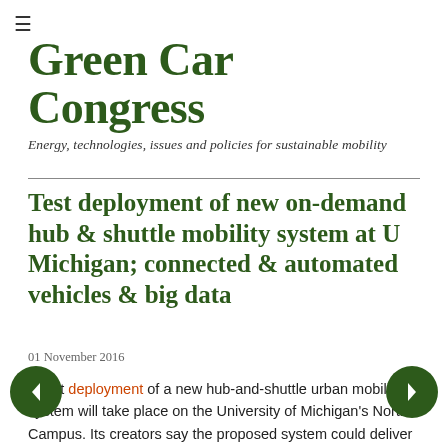≡
Green Car Congress
Energy, technologies, issues and policies for sustainable mobility
Test deployment of new on-demand hub & shuttle mobility system at U Michigan; connected & automated vehicles & big data
01 November 2016
A test deployment of a new hub-and-shuttle urban mobility system will take place on the University of Michigan's North Campus. Its creators say the proposed system could deliver riders to their destinations in as little as half the time of the existing bus system at a lower cost,